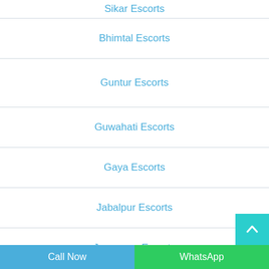Sikar Escorts
Bhimtal Escorts
Guntur Escorts
Guwahati Escorts
Gaya Escorts
Jabalpur Escorts
Jamnagar Escorts
Call Now | WhatsApp